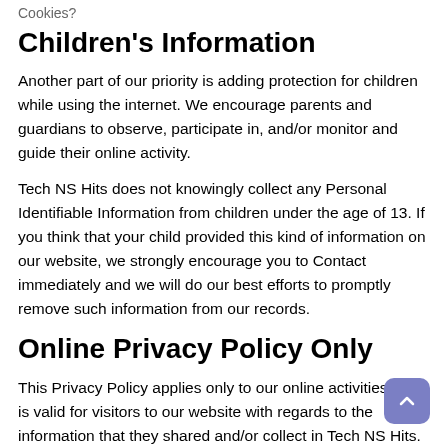Cookies?
Children's Information
Another part of our priority is adding protection for children while using the internet. We encourage parents and guardians to observe, participate in, and/or monitor and guide their online activity.
Tech NS Hits does not knowingly collect any Personal Identifiable Information from children under the age of 13. If you think that your child provided this kind of information on our website, we strongly encourage you to Contact immediately and we will do our best efforts to promptly remove such information from our records.
Online Privacy Policy Only
This Privacy Policy applies only to our online activities and is valid for visitors to our website with regards to the information that they shared and/or collect in Tech NS Hits. This policy is not applicable to any information collected